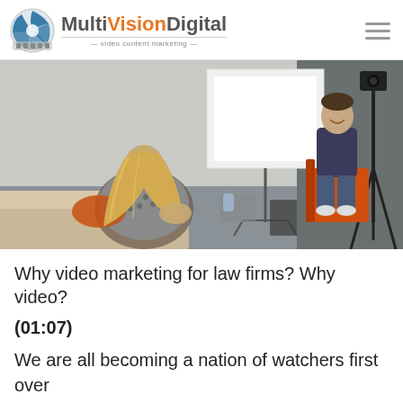MultiVisionDigital - video content marketing
[Figure (photo): Indoor video production scene: a woman with long blonde hair sits with her back to the camera on a tan couch, facing a smiling man in a dark shirt seated on an orange chair. Camera equipment on a tripod is visible on the right. A bright light panel and white presentation screen are in the background.]
Why video marketing for law firms? Why video?
(01:07)
We are all becoming a nation of watchers first over